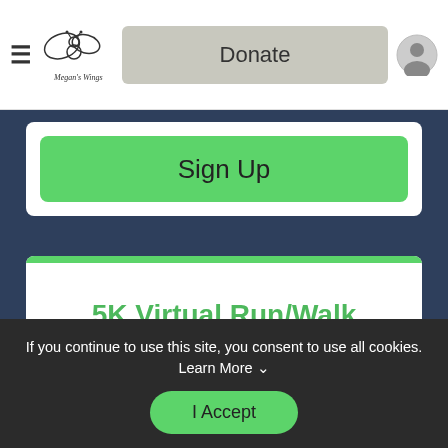Donate
Sign Up
5K Virtual Run/Walk
Sign Up
If you continue to use this site, you consent to use all cookies. Learn More
I Accept